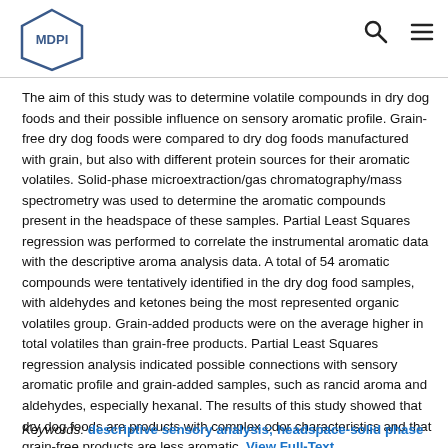MDPI logo with navigation search and menu icons
The aim of this study was to determine volatile compounds in dry dog foods and their possible influence on sensory aromatic profile. Grain-free dry dog foods were compared to dry dog foods manufactured with grain, but also with different protein sources for their aromatic volatiles. Solid-phase microextraction/gas chromatography/mass spectrometry was used to determine the aromatic compounds present in the headspace of these samples. Partial Least Squares regression was performed to correlate the instrumental aromatic data with the descriptive aroma analysis data. A total of 54 aromatic compounds were tentatively identified in the dry dog food samples, with aldehydes and ketones being the most represented organic volatiles group. Grain-added products were on the average higher in total volatiles than grain-free products. Partial Least Squares regression analysis indicated possible connections with sensory aromatic profile and grain-added samples, such as rancid aroma and aldehydes, especially hexanal. The results of this study showed that dry dog foods are products with complex odor characteristics and that grain-free products are less aromatic. View Full-Text
Keywords: descriptive sensory analysis; headspace-solid phase microextraction; dog food volatile compounds